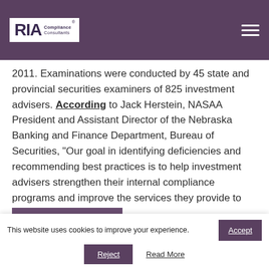RIA Compliance Consultants
2011. Examinations were conducted by 45 state and provincial securities examiners of 825 investment advisers. According to Jack Herstein, NASAA President and Assistant Director of the Nebraska Banking and Finance Department, Bureau of Securities, "Our goal in identifying deficiencies and recommending best practices is to help investment advisers strengthen their internal compliance programs and improve the services they provide to clients."
CONTINUE READING
This website uses cookies to improve your experience. Accept Reject Read More